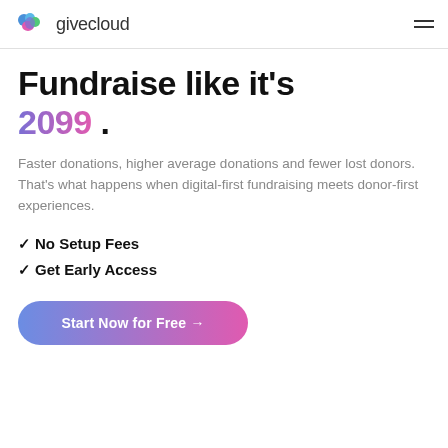givecloud
Fundraise like it's 2099.
Faster donations, higher average donations and fewer lost donors. That's what happens when digital-first fundraising meets donor-first experiences.
✓ No Setup Fees
✓ Get Early Access
Start Now for Free →